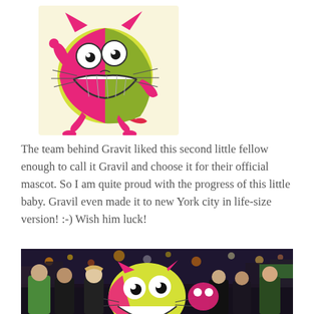[Figure (illustration): Cartoon mascot character Gravil: a round yellow-green and pink creature with big eyes, cat-like ears, large toothy grin, whiskers, and pink limbs, on a light yellow background.]
The team behind Gravit liked this second little fellow enough to call it Gravil and choose it for their official mascot. So I am quite proud with the progress of this little baby. Gravil even made it to new York city in life-size version! :-) Wish him luck!
[Figure (photo): Group photo of several people at night in New York City (Times Square), posing with a large life-size Gravil mascot costume. The mascot is yellow-green and pink. People are wearing black t-shirts and casual clothes.]